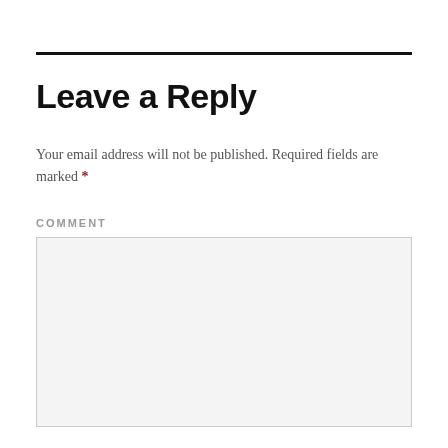Leave a Reply
Your email address will not be published. Required fields are marked *
COMMENT